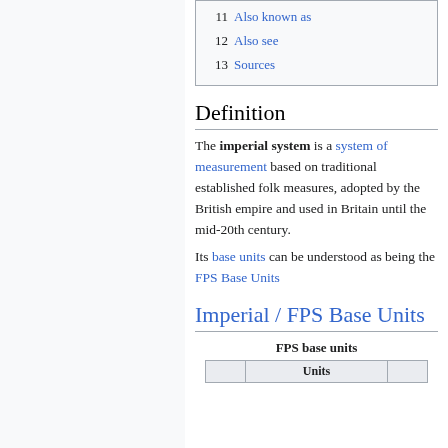11  Also known as
12  Also see
13  Sources
Definition
The imperial system is a system of measurement based on traditional established folk measures, adopted by the British empire and used in Britain until the mid-20th century.
Its base units can be understood as being the FPS Base Units
Imperial / FPS Base Units
|  | Units |  |
| --- | --- | --- |